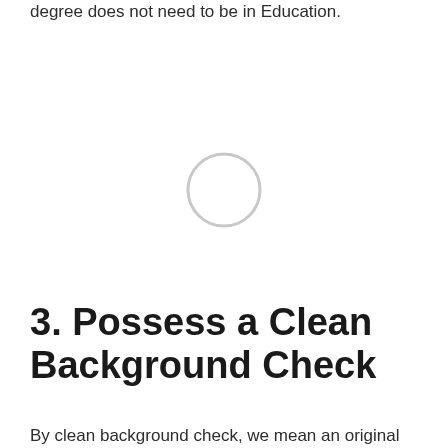degree does not need to be in Education.
[Figure (other): A light gray circle outline centered in a white space area, appearing as a loading or decorative circle element.]
3. Possess a Clean Background Check
By clean background check, we mean an original